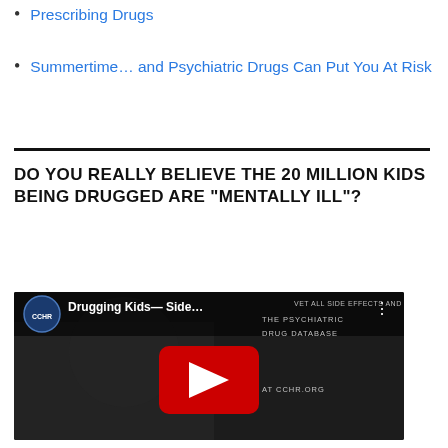Prescribing Drugs
Summertime… and Psychiatric Drugs Can Put You At Risk
DO YOU REALLY BELIEVE THE 20 MILLION KIDS BEING DRUGGED ARE “MENTALLY ILL”?
[Figure (screenshot): YouTube video thumbnail showing 'Drugging Kids— Side...' video by CCHR International. Dark background with a red YouTube play button in the center. Text on the right reads 'THE PSYCHIATRIC DRUG DATABASE AT CCHR.ORG'. CCHR logo in top left corner.]